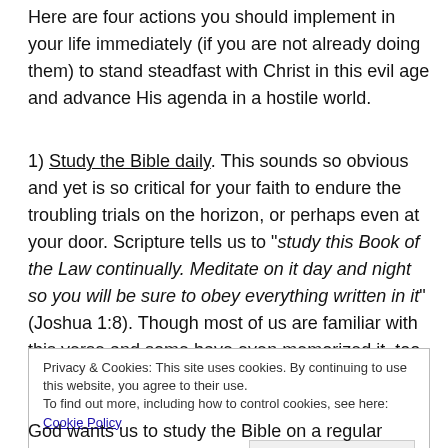Here are four actions you should implement in your life immediately (if you are not already doing them) to stand steadfast with Christ in this evil age and advance His agenda in a hostile world.
1) Study the Bible daily. This sounds so obvious and yet is so critical for your faith to endure the troubling trials on the horizon, or perhaps even at your door. Scripture tells us to "study this Book of the Law continually. Meditate on it day and night so you will be sure to obey everything written in it" (Joshua 1:8). Though most of us are familiar with this verse and some have even memorized it, too few put it into practice consistently.
Privacy & Cookies: This site uses cookies. By continuing to use this website, you agree to their use. To find out more, including how to control cookies, see here: Cookie Policy
Close and accept
God wants us to study the Bible on a regular basis, not just